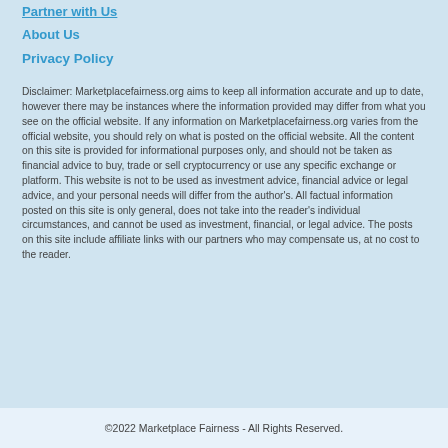Partner with Us
About Us
Privacy Policy
Disclaimer: Marketplacefairness.org aims to keep all information accurate and up to date, however there may be instances where the information provided may differ from what you see on the official website. If any information on Marketplacefairness.org varies from the official website, you should rely on what is posted on the official website. All the content on this site is provided for informational purposes only, and should not be taken as financial advice to buy, trade or sell cryptocurrency or use any specific exchange or platform. This website is not to be used as investment advice, financial advice or legal advice, and your personal needs will differ from the author's. All factual information posted on this site is only general, does not take into the reader's individual circumstances, and cannot be used as investment, financial, or legal advice. The posts on this site include affiliate links with our partners who may compensate us, at no cost to the reader.
©2022 Marketplace Fairness - All Rights Reserved.